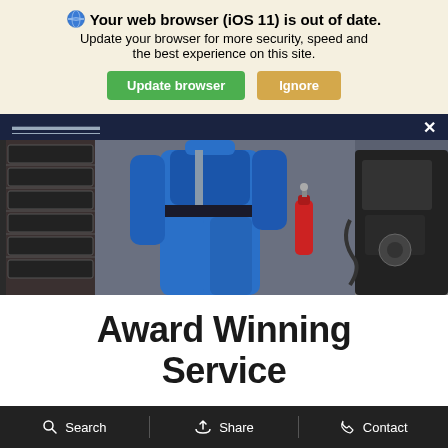Your web browser (iOS 11) is out of date. Update your browser for more security, speed and the best experience on this site.
[Figure (screenshot): Two buttons: green 'Update browser' and tan 'Ignore']
[Figure (photo): Mechanic in blue coveralls standing in a garage/workshop with tires and equipment visible]
Award Winning Service
Our highly qualified technicians are here to provide exceptional service in a timely manner. From oil
Search   Share   Contact